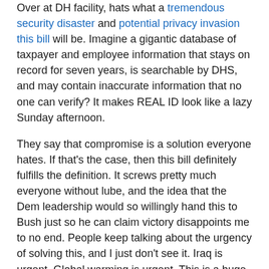Over at DH facility, hats what a tremendous security disaster and potential privacy invasion this bill will be. Imagine a gigantic database of taxpayer and employee information that stays on record for seven years, is searchable by DHS, and may contain inaccurate information that no one can verify? It makes REAL ID look like a lazy Sunday afternoon.
They say that compromise is a solution everyone hates. If that's the case, then this bill definitely fulfills the definition. It screws pretty much everyone without lube, and the idea that the Dem leadership would so willingly hand this to Bush just so he can claim victory disappoints me to no end. People keep talking about the urgency of solving this, and I just don't see it. Iraq is urgent. Global warming is urgent. This is a huge problem that will take years to solve, and ramming through a miserable failure of a bill like this does a disservice not only to the complexity of the issues, but to the public's ability to tell truth from pandering bullshit.